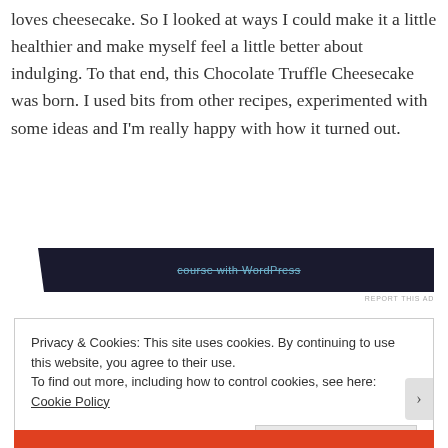loves cheesecake. So I looked at ways I could make it a little healthier and make myself feel a little better about indulging. To that end, this Chocolate Truffle Cheesecake was born. I used bits from other recipes, experimented with some ideas and I'm really happy with how it turned out.
[Figure (other): Dark advertisement banner with text 'course with WordPress' in teal/blue strikethrough style, with a notch cutout on the left side]
REPORT THIS AD
Privacy & Cookies: This site uses cookies. By continuing to use this website, you agree to their use.
To find out more, including how to control cookies, see here: Cookie Policy
Close and accept